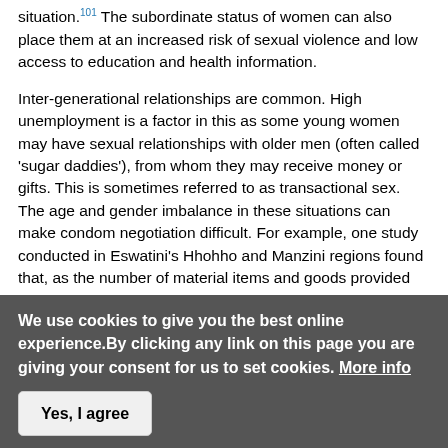situation.101 The subordinate status of women can also place them at an increased risk of sexual violence and low access to education and health information.
Inter-generational relationships are common. High unemployment is a factor in this as some young women may have sexual relationships with older men (often called 'sugar daddies'), from whom they may receive money or gifts. This is sometimes referred to as transactional sex. The age and gender imbalance in these situations can make condom negotiation difficult. For example, one study conducted in Eswatini's Hhohho and Manzini regions found that, as the number of material items and goods provided by a man to a young woman increases, the likelihood of condom use decreases.102
We use cookies to give you the best online experience.By clicking any link on this page you are giving your consent for us to set cookies. More info
Yes, I agree